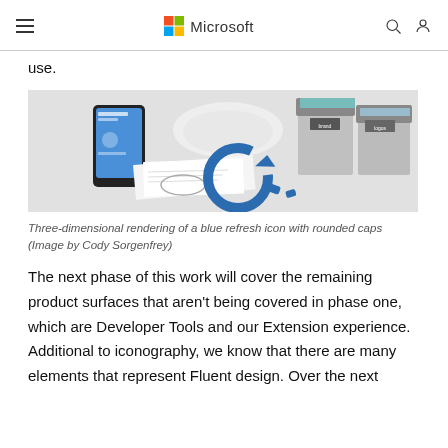Microsoft
use.
[Figure (photo): Three-dimensional rendering of a blue refresh icon with rounded caps on a white desk surface, alongside a smartphone, white device, paper documents, and labeled storage boxes. Image by Cody Sorgenfrey.]
Three-dimensional rendering of a blue refresh icon with rounded caps (Image by Cody Sorgenfrey)
The next phase of this work will cover the remaining product surfaces that aren't being covered in phase one, which are Developer Tools and our Extension experience. Additional to iconography, we know that there are many elements that represent Fluent design. Over the next